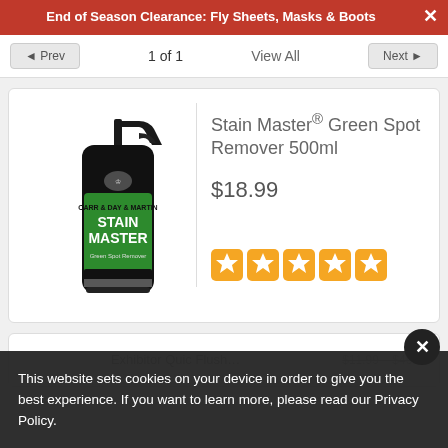End of Season Clearance: Fly Sheets, Masks & Boots
◄ Prev    1 of 1    View All    Next ►
[Figure (photo): Carr & Day & Martin Stain Master Green Spot Remover 500ml spray bottle with black body and green label]
Stain Master® Green Spot Remover 500ml
$18.99
[Figure (other): Five orange star rating icons in rounded squares]
This website sets cookies on your device in order to give you the best experience. If you want to learn more, please read our Privacy Policy.